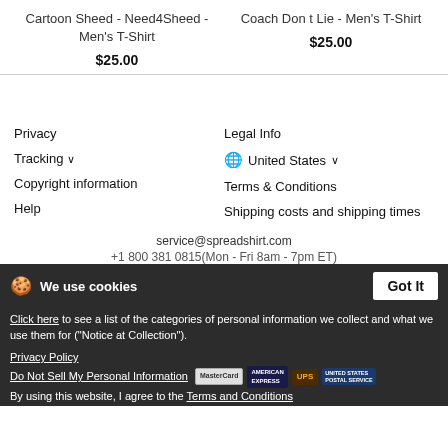Cartoon Sheed - Need4Sheed - Men's T-Shirt
$25.00
Coach Don t Lie - Men's T-Shirt
$25.00
Privacy
Legal Info
Tracking ∨
🌐 United States ∨
Copyright information
Terms & Conditions
Help
Shipping costs and shipping times
service@spreadshirt.com
+1 800 381 0815(Mon - Fri 8am - 7pm ET)
We use cookies
Got It
Click here to see a list of the categories of personal information we collect and what we use them for ("Notice at Collection").
Privacy Policy
Do Not Sell My Personal Information
By using this website, I agree to the Terms and Conditions